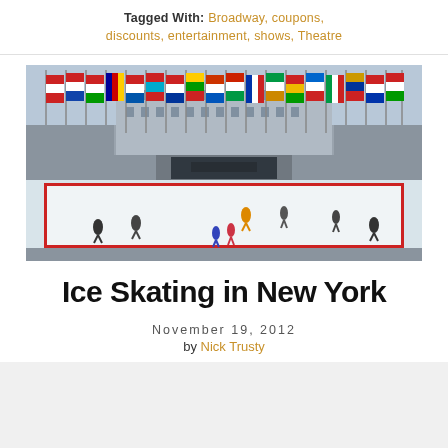Tagged With: Broadway, coupons, discounts, entertainment, shows, Theatre
[Figure (photo): Ice skaters at Rockefeller Center rink with international flags and building facade in background]
Ice Skating in New York
November 19, 2012
by Nick Trusty